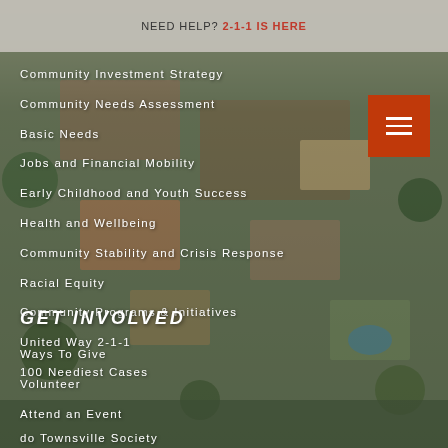NEED HELP? 2-1-1 IS HERE
Community Investment Strategy
Community Needs Assessment
Basic Needs
Jobs and Financial Mobility
Early Childhood and Youth Success
Health and Wellbeing
Community Stability and Crisis Response
Racial Equity
Community Programs & Initiatives
United Way 2-1-1
100 Neediest Cases
GET INVOLVED
Ways To Give
Volunteer
Attend an Event
do Townsville Society